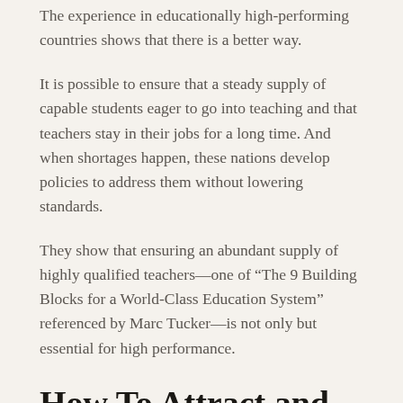The experience in educationally high-performing countries shows that there is a better way.
It is possible to ensure that a steady supply of capable students eager to go into teaching and that teachers stay in their jobs for a long time. And when shortages happen, these nations develop policies to address them without lowering standards.
They show that ensuring an abundant supply of highly qualified teachers—one of “The 9 Building Blocks for a World-Class Education System” referenced by Marc Tucker—is not only but essential for high performance.
How To Attract and Retain Teachers